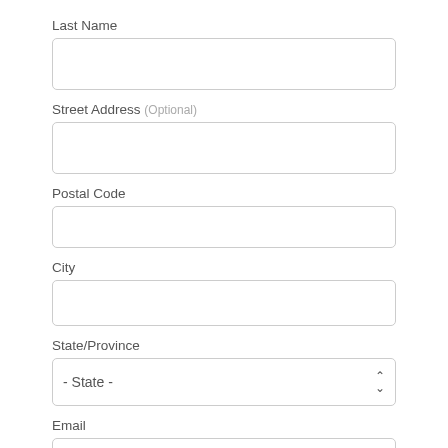Last Name
[Figure (other): Empty text input field for Last Name]
Street Address (Optional)
[Figure (other): Empty text input field for Street Address]
Postal Code
[Figure (other): Empty text input field for Postal Code]
City
[Figure (other): Empty text input field for City]
State/Province
[Figure (other): Dropdown select field showing '- State -']
Email
[Figure (other): Text input field with placeholder 'email@email.com']